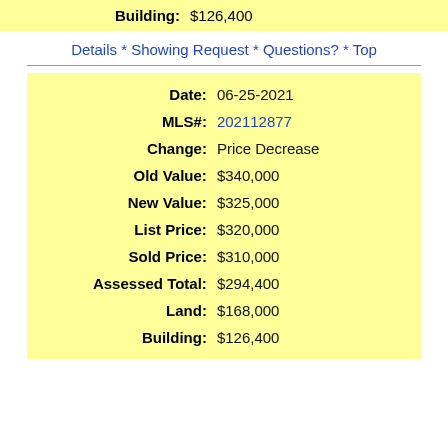Building: $126,400
Details * Showing Request * Questions? * Top
| Field | Value |
| --- | --- |
| Date: | 06-25-2021 |
| MLS#: | 202112877 |
| Change: | Price Decrease |
| Old Value: | $340,000 |
| New Value: | $325,000 |
| List Price: | $320,000 |
| Sold Price: | $310,000 |
| Assessed Total: | $294,400 |
| Land: | $168,000 |
| Building: | $126,400 |